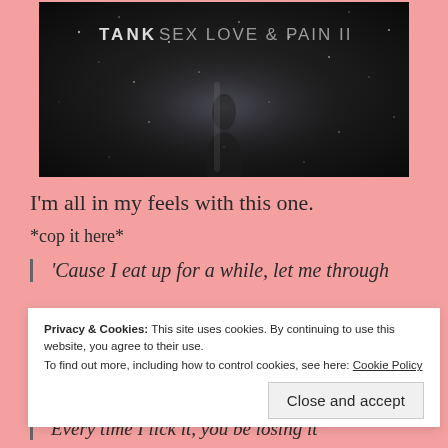[Figure (photo): Album cover for 'Tank Sex Love & Pain II' — dark/black background with scattered light particles and a silhouette figure, white text reading 'TANK SEX LOVE & PAIN II' at the top]
I'm all in my feels with this one.
*cop it here*
'Cause I eat up for a while, let me through
Privacy & Cookies: This site uses cookies. By continuing to use this website, you agree to their use.
To find out more, including how to control cookies, see here: Cookie Policy
Close and accept
Every time I lick it, you be losing it